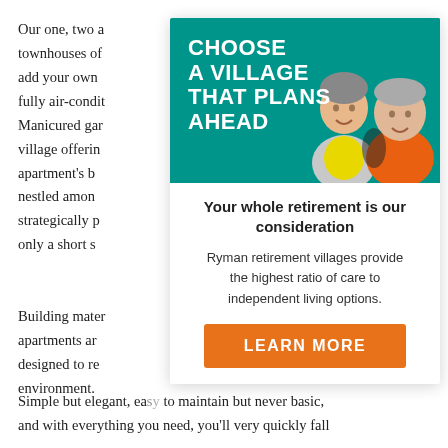Our one, two and three bedroom townhouses offer the space to add your own personal touches, fully air-conditioned Manicured gardens are a village offering with each apartment's balcony nestled among trees, strategically positioned only a short stroll...
[Figure (illustration): Advertisement overlay for Ryman retirement villages. Teal banner with bold white text 'CHOOSE A VILLAGE THAT PLANS AHEAD' and photo of two smiling elderly people. Below: bold heading 'Your whole retirement is our consideration', body text about Ryman retirement villages providing highest ratio of care, and orange 'LEARN MORE' button.]
Building materials for the apartments are specifically designed to reduce the environment.
Simple but elegant, easy to maintain but never basic, and with everything you need, you'll very quickly fall